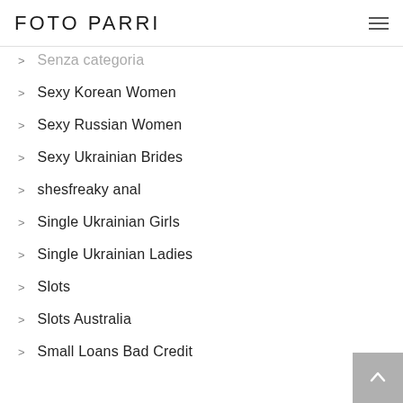FOTO PARRI
Senza categoria
Sexy Korean Women
Sexy Russian Women
Sexy Ukrainian Brides
shesfreaky anal
Single Ukrainian Girls
Single Ukrainian Ladies
Slots
Slots Australia
Small Loans Bad Credit